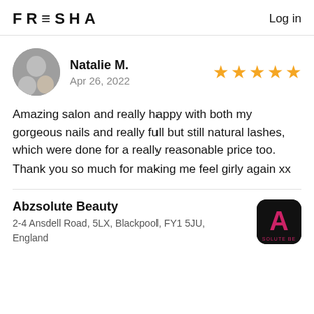FRESHA   Log in
Natalie M.
Apr 26, 2022
[Figure (illustration): Five gold/yellow star rating icons indicating 5-star review]
Amazing salon and really happy with both my gorgeous nails and really full but still natural lashes, which were done for a really reasonable price too. Thank you so much for making me feel girly again xx
Abzsolute Beauty
2-4 Ansdell Road, 5LX, Blackpool, FY1 5JU, England
[Figure (logo): Abzsolute Beauty logo — black rounded square with a stylized red/pink A letter and text SOLUTE BE at bottom]